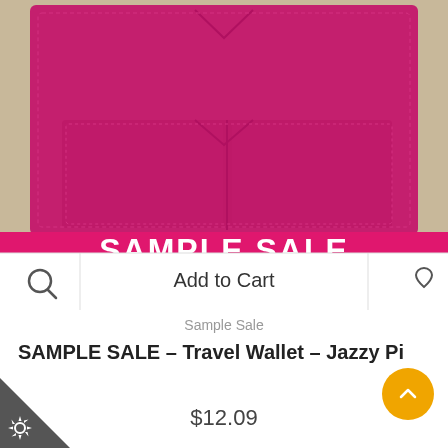[Figure (photo): Close-up photo of a hot pink / magenta leather travel wallet with stitched card pocket slots, placed on a wooden surface with a pink 'SAMPLE SALE' banner visible beneath it. An 'Add to Cart' toolbar overlays the bottom of the image with search icon on left, 'Add to Cart' text in center, and heart icon on right.]
Sample Sale
SAMPLE SALE – Travel Wallet – Jazzy Pi
$12.09